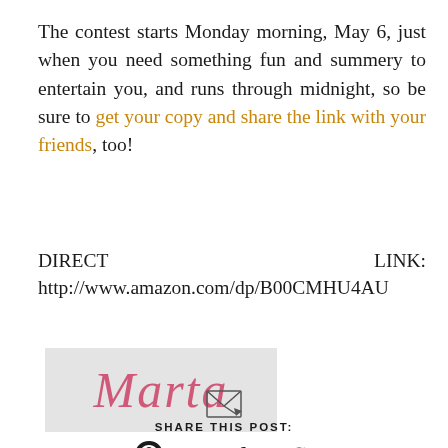The contest starts Monday morning, May 6, just when you need something fun and summery to entertain you, and runs through midnight, so be sure to get your copy and share the link with your friends, too!
DIRECT LINK: http://www.amazon.com/dp/B00CMHU4AU
[Figure (illustration): Handwritten cursive signature reading 'Marta' in pink/rose color on a light gray background]
SHARE THIS POST: